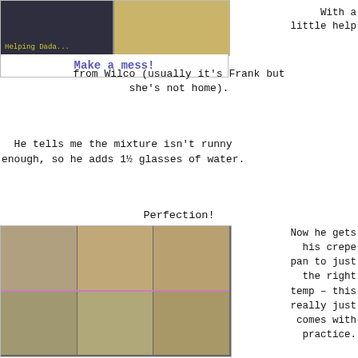[Figure (photo): Two photos side by side: left shows a dark kitchen scene with text 'Helping Dada...' overlay; right shows a child in yellow shirt.]
Make a mess!
With a little help from Wilco (usually it's Frank but she's not home).
He tells me the mixture isn't runny enough, so he adds 1½ glasses of water.
Perfection!
[Figure (photo): Six-panel photo grid showing crepe being poured and spread on a crepe pan with a wooden spreader.]
Now he gets his crepe pan to just the right temp – this really just comes with practice.